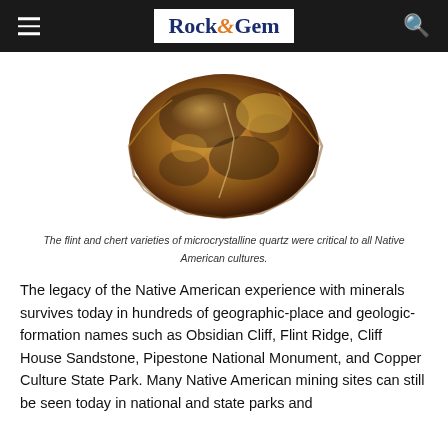Rock&Gem
[Figure (photo): A flint or chert stone artifact, amber and dark brown in color, showing knapped edges typical of Native American tool-making.]
The flint and chert varieties of microcrystalline quartz were critical to all Native American cultures.
The legacy of the Native American experience with minerals survives today in hundreds of geographic-place and geologic-formation names such as Obsidian Cliff, Flint Ridge, Cliff House Sandstone, Pipestone National Monument, and Copper Culture State Park. Many Native American mining sites can still be seen today in national and state parks and